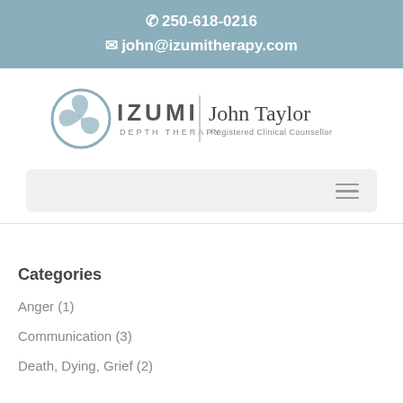📞 250-618-0216
✉ john@izumitherapy.com
[Figure (logo): Izumi Depth Therapy logo with circular emblem and text 'IZUMI DEPTH THERAPY / John Taylor Registered Clinical Counsellor']
Categories
Anger (1)
Communication (3)
Death, Dying, Grief (2)